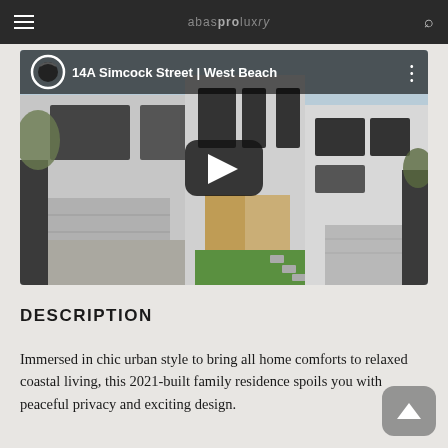Navigation bar with hamburger menu, site title, and search icon
[Figure (screenshot): YouTube video thumbnail showing a modern two-storey white render family home at 14A Simcock Street, West Beach. The video has a dark top bar with a circular YouTube icon, the title '14A Simcock Street | West Beach', a three-dot menu, and a centered play button over the property image featuring a green lawn and gravel driveway.]
DESCRIPTION
Immersed in chic urban style to bring all home comforts to relaxed coastal living, this 2021-built family residence spoils you with peaceful privacy and exciting design.